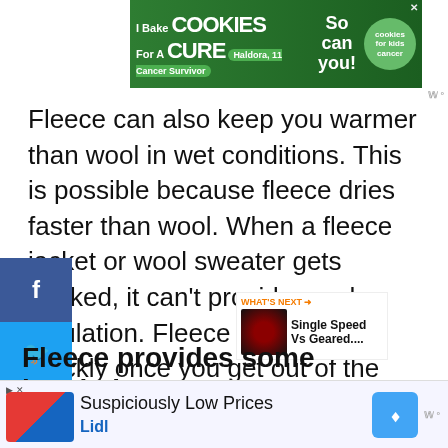[Figure (other): Advertisement banner: 'I Bake COOKIES For A CURE' featuring Haldora, 11 Cancer Survivor with a cookies for kids cancer badge]
Fleece can also keep you warmer than wool in wet conditions. This is possible because fleece dries faster than wool. When a fleece jacket or wool sweater gets soaked, it can't provide much insulation. Fleece can dry out quickly once you get out of the rain. Once the fleece is partially dry, it can provide insulation again.
[Figure (other): Social media share buttons sidebar: Facebook (f), Twitter (bird), Pinterest (p)]
[Figure (other): WHAT'S NEXT widget showing 'Single Speed Vs Geared...' with a cycling image]
[Figure (other): Heart/like button with count 111 and share button]
Fleece provides some insulation
[Figure (other): Advertisement banner: 'Suspiciously Low Prices Lidl' with Lidl logo and direction sign]